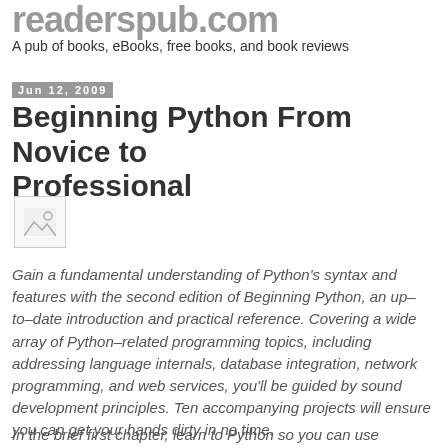readerspub.com
A pub of books, eBooks, free books, and book reviews
Jun 12, 2009
Beginning Python From Novice to Professional
[Figure (photo): Book cover image thumbnail (broken/placeholder image icon)]
Gain a fundamental understanding of Python’s syntax and features with the second edition of Beginning Python, an up–to–date introduction and practical reference. Covering a wide array of Python–related programming topics, including addressing language internals, database integration, network programming, and web services, you’ll be guided by sound development principles. Ten accompanying projects will ensure you can get your hands dirty in no time.
In the brief first chapter, learn to Python so you can use